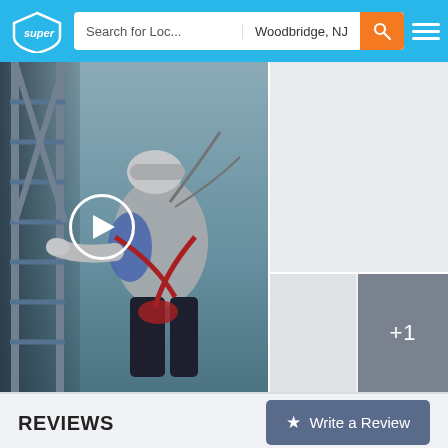super | Search for Loc... | Woodbridge, NJ
[Figure (screenshot): Screenshot of a local services website (super.com) showing a navigation header with logo, search bar with location Woodbridge NJ, and a media grid with a main video thumbnail of a person climbing a utility tower in safety harness with a play button overlay, plus additional smaller image thumbnails on the right side including a +1 indicator]
REVIEWS
Write a Review